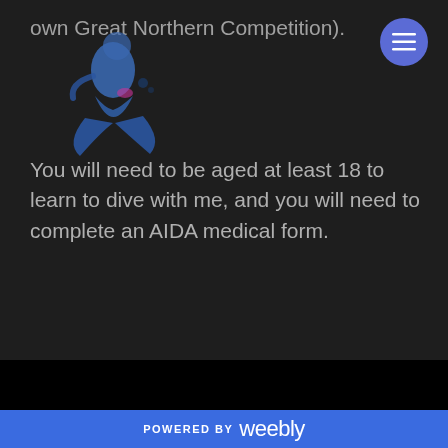own Great Northern Competition).
[Figure (logo): Freediving/mermaid logo in blue tones with a figure and fish tail, overlapping body text area]
You will need to be aged at least 18 to learn to dive with me, and you will need to complete an AIDA medical form.
POWERED BY weebly